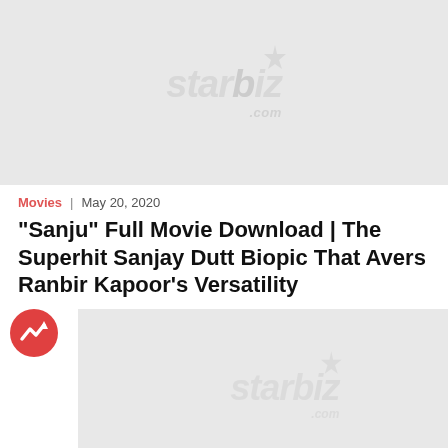[Figure (photo): Top placeholder image with starbiz.com watermark on light gray background]
Movies | May 20, 2020
"Sanju" Full Movie Download | The Superhit Sanjay Dutt Biopic That Avers Ranbir Kapoor's Versatility
[Figure (photo): Bottom placeholder image with starbiz.com watermark on light gray background, with trending arrow icon overlay at top left]